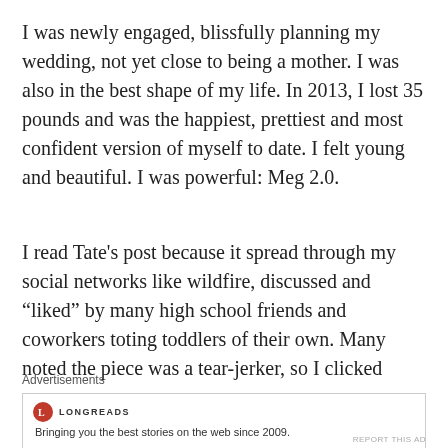I was newly engaged, blissfully planning my wedding, not yet close to being a mother. I was also in the best shape of my life. In 2013, I lost 35 pounds and was the happiest, prettiest and most confident version of myself to date. I felt young and beautiful. I was powerful: Meg 2.0.
I read Tate's post because it spread through my social networks like wildfire, discussed and “liked” by many high school friends and coworkers toting toddlers of their own. Many noted the piece was a tear-jerker, so I clicked over.
[Figure (other): Advertisement box with Longreads logo and tagline: Bringing you the best stories on the web since 2009.]